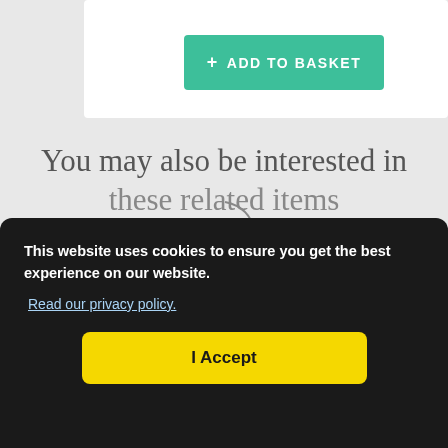[Figure (screenshot): White card panel with a teal 'ADD TO BASKET' button]
You may also be interested in these related items
This website uses cookies to ensure you get the best experience on our website.
Read our privacy policy.
I Accept